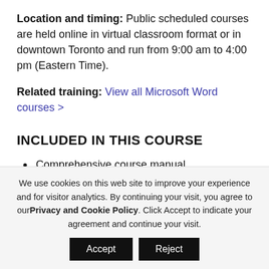Location and timing: Public scheduled courses are held online in virtual classroom format or in downtown Toronto and run from 9:00 am to 4:00 pm (Eastern Time).
Related training: View all Microsoft Word courses >
INCLUDED IN THIS COURSE
Comprehensive course manual
Keyboard shortcuts quick reference
Sample and exercise files
We use cookies on this web site to improve your experience and for visitor analytics. By continuing your visit, you agree to our Privacy and Cookie Policy. Click Accept to indicate your agreement and continue your visit.